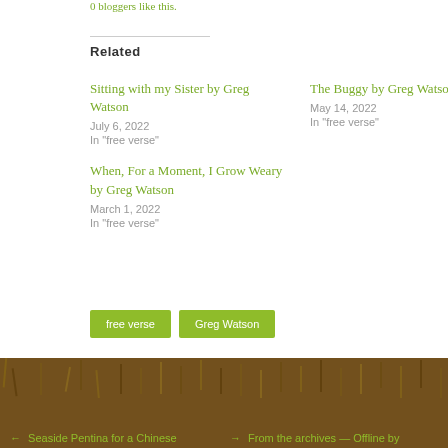0 bloggers like this.
Related
Sitting with my Sister by Greg Watson
July 6, 2022
In "free verse"
The Buggy by Greg Watson
May 14, 2022
In "free verse"
When, For a Moment, I Grow Weary by Greg Watson
March 1, 2022
In "free verse"
free verse
Greg Watson
← Seaside Pentina for a Chinese    → From the archives — Offline by